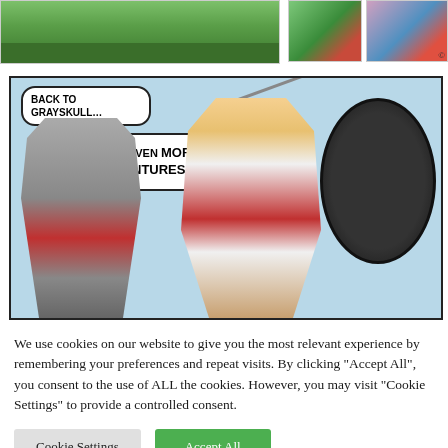[Figure (illustration): Top portion of a comics page showing a green landscape panel on the left and two smaller comic panels on the right]
[Figure (illustration): Comic book panel showing He-Man and a robot character. Speech bubbles read: 'BACK TO GRAYSKULL...' and '...AND EVEN MORE ADVENTURES!!']
We use cookies on our website to give you the most relevant experience by remembering your preferences and repeat visits. By clicking "Accept All", you consent to the use of ALL the cookies. However, you may visit "Cookie Settings" to provide a controlled consent.
Cookie Settings
Accept All